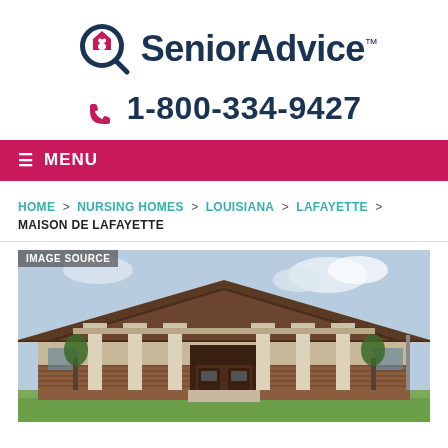[Figure (logo): SeniorAdvice logo with magnifying glass icon containing a house with heart]
1-800-334-9427
≡ MENU
HOME > NURSING HOMES > LOUISIANA > LAFAYETTE > MAISON DE LAFAYETTE
[Figure (photo): Exterior photo of Maison De Lafayette nursing home building with columns and large roof, IMAGE SOURCE label in top left corner]